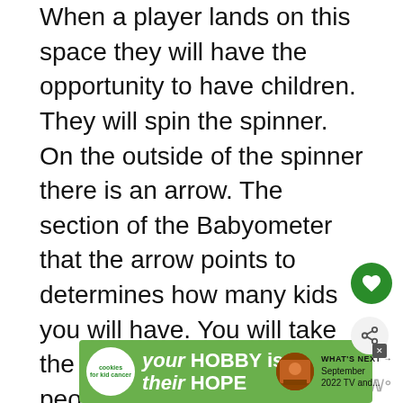When a player lands on this space they will have the opportunity to have children. They will spin the spinner. On the outside of the spinner there is an arrow. The section of the Babyometer that the arrow points to determines how many kids you will have. You will take the corresponding number of people pegs and add them to your car. If your car is full you will put the remaining kids into your section of the daycare on the gameboard.
[Figure (other): Green circular heart icon button]
[Figure (other): Grey circular share icon button]
[Figure (other): What's Next thumbnail with text: September 2022 TV and...]
[Figure (other): Advertisement banner: cookies for kid cancer, your HOBBY is their HOPE]
[Figure (logo): MW logo watermark]